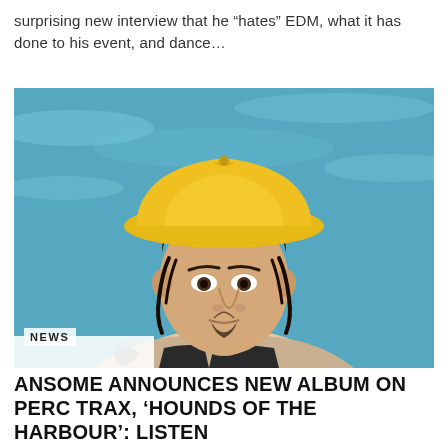surprising new interview that he “hates” EDM, what it has done to his event, and dance…
[Figure (photo): A young man with dark wet hair and a goatee, wearing a large yellow bucket hat and a black top, standing in front of turquoise water. He has tattoos visible on his chest.]
NEWS
ANSOME ANNOUNCES NEW ALBUM ON PERC TRAX, ‘HOUNDS OF THE HARBOUR’: LISTEN